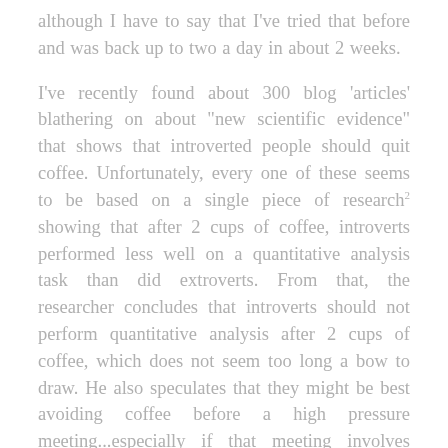although I have to say that I've tried that before and was back up to two a day in about 2 weeks.
I've recently found about 300 blog 'articles' blathering on about "new scientific evidence" that shows that introverted people should quit coffee. Unfortunately, every one of these seems to be based on a single piece of research2 showing that after 2 cups of coffee, introverts performed less well on a quantitative analysis task than did extroverts. From that, the researcher concludes that introverts should not perform quantitative analysis after 2 cups of coffee, which does not seem too long a bow to draw. He also speculates that they might be best avoiding coffee before a high pressure meeting...especially if that meeting involves quantitative analysis. That's the problem